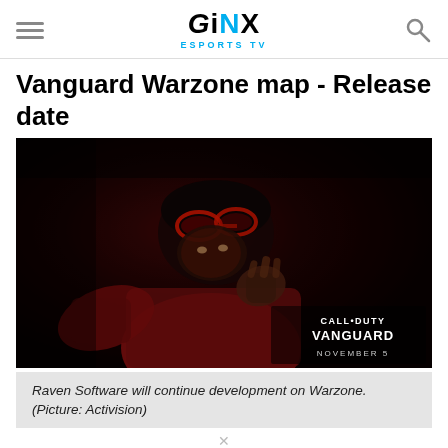GINX ESPORTS TV
Vanguard Warzone map - Release date
[Figure (photo): A Call of Duty Vanguard promotional image showing a soldier in dark tactical gear with red-lit goggles, holding their hand near their face in dramatic lighting. The Call of Duty Vanguard November 5 logo is visible in the bottom right corner.]
Raven Software will continue development on Warzone. (Picture: Activision)